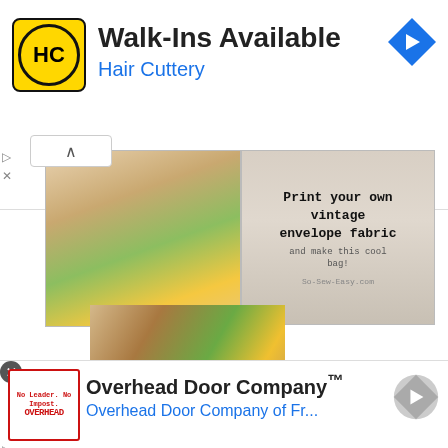[Figure (screenshot): Hair Cuttery advertisement banner with yellow HC logo, text 'Walk-Ins Available' and 'Hair Cuttery' in blue, with a blue navigation arrow icon]
[Figure (photo): Crafting blog image showing a floral fabric bag on the left and text overlay on the right reading 'Print your own vintage envelope fabric and make this cool bag! So-Sew-Easy.com']
[Figure (photo): Colorful striped fabric or dress with a black belt/buckle detail in the center]
[Figure (screenshot): Overhead Door Company advertisement banner with red-bordered logo, text 'Overhead Door Company™' and 'Overhead Door Company of Fr...' in blue, with greyed navigation arrow]